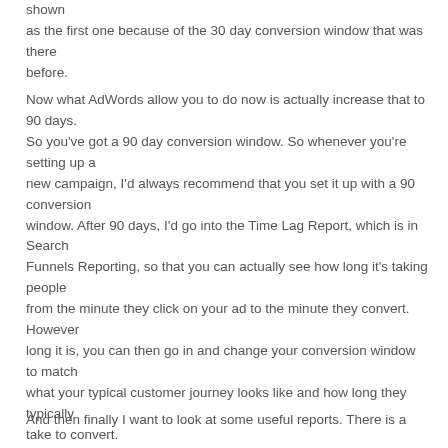shown
as the first one because of the 30 day conversion window that was there
before.
Now what AdWords allow you to do now is actually increase that to 90 days.
So you've got a 90 day conversion window. So whenever you're setting up a
new campaign, I'd always recommend that you set it up with a 90 conversion
window. After 90 days, I'd go into the Time Lag Report, which is in Search
Funnels Reporting, so that you can actually see how long it's taking people
from the minute they click on your ad to the minute they convert. However
long it is, you can then go in and change your conversion window to match
what your typical customer journey looks like and how long they typically
take to convert.
And then finally I want to look at some useful reports. There is a